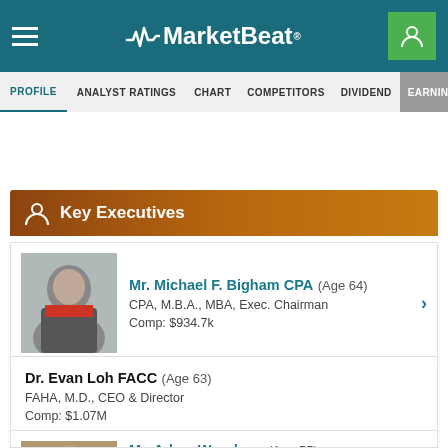MarketBeat
Key Executives
Mr. Michael F. Bigham CPA (Age 64) — CPA, M.B.A., MBA, Exec. Chairman — Comp: $934.7k
Dr. Evan Loh FACC (Age 63) — FAHA, M.D., CEO & Director — Comp: $1.07M
Mr. Adam Woodrow (Age 55) — Pres & Chief Commercial Officer